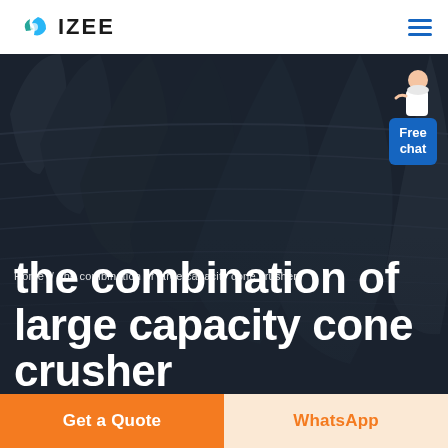[Figure (logo): IZEE logo with teal gear/leaf icon and bold IZEE text]
[Figure (photo): Dark industrial background showing cone crusher machinery with ridged conical surfaces, hero image with breadcrumb and large white title text overlay]
Home  /  the combination of large capacity cone crusher
the combination of large capacity cone crusher
Get a Quote
WhatsApp